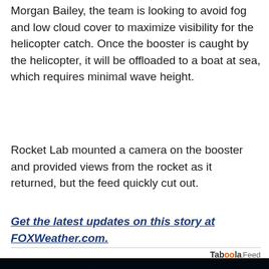Morgan Bailey, the team is looking to avoid fog and low cloud cover to maximize visibility for the helicopter catch. Once the booster is caught by the helicopter, it will be offloaded to a boat at sea, which requires minimal wave height.
Rocket Lab mounted a camera on the booster and provided views from the rocket as it returned, but the feed quickly cut out.
Get the latest updates on this story at FOXWeather.com.
[Figure (photo): Dark blue technology-themed image showing a glowing blue circular/globe-like digital graphic on a dark background, partially visible at bottom of page]